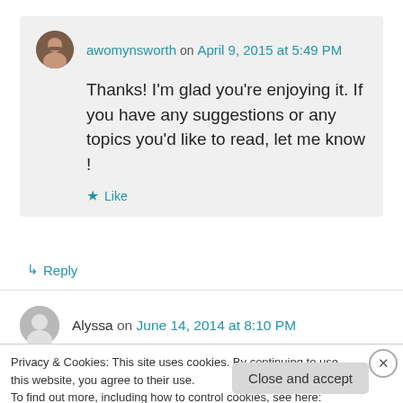awomynsworth on April 9, 2015 at 5:49 PM
Thanks! I'm glad you're enjoying it. If you have any suggestions or any topics you'd like to read, let me know !
Like
Reply
Alyssa on June 14, 2014 at 8:10 PM
Privacy & Cookies: This site uses cookies. By continuing to use this website, you agree to their use.
To find out more, including how to control cookies, see here: Cookie Policy
Close and accept